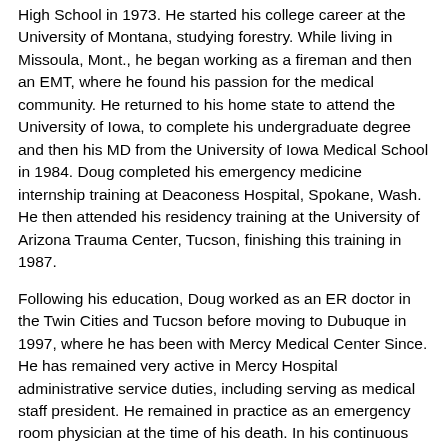High School in 1973. He started his college career at the University of Montana, studying forestry. While living in Missoula, Mont., he began working as a fireman and then an EMT, where he found his passion for the medical community. He returned to his home state to attend the University of Iowa, to complete his undergraduate degree and then his MD from the University of Iowa Medical School in 1984. Doug completed his emergency medicine internship training at Deaconess Hospital, Spokane, Wash. He then attended his residency training at the University of Arizona Trauma Center, Tucson, finishing this training in 1987.
Following his education, Doug worked as an ER doctor in the Twin Cities and Tucson before moving to Dubuque in 1997, where he has been with Mercy Medical Center Since. He has remained very active in Mercy Hospital administrative service duties, including serving as medical staff president. He remained in practice as an emergency room physician at the time of his death. In his continuous pursuit of learning, Doug went on to obtain his MBA at the University of Iowa's "Executive Program" in 2007. In addition, he was the chair of the Iowa Emergency Medical Services Advisory Council.